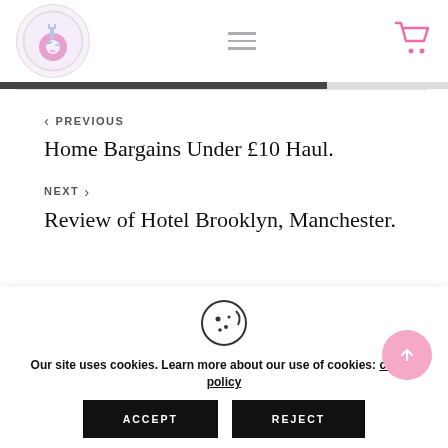Dungarees Donuts — logo, hamburger menu, cart icon
< PREVIOUS
Home Bargains Under £10 Haul.
NEXT >
Review of Hotel Brooklyn, Manchester.
Our site uses cookies. Learn more about our use of cookies: cookie policy
ACCEPT
REJECT